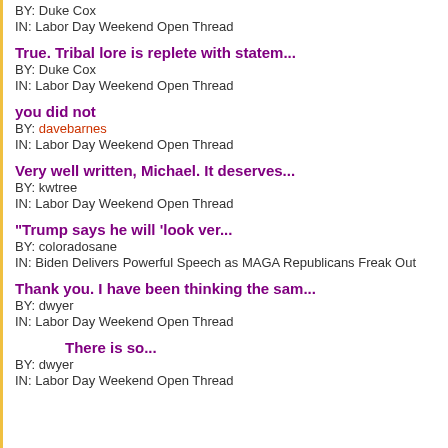BY: Duke Cox
IN: Labor Day Weekend Open Thread
True. Tribal lore is replete with statem... | BY: Duke Cox | IN: Labor Day Weekend Open Thread
you did not | BY: davebarnes | IN: Labor Day Weekend Open Thread
Very well written, Michael. It deserves... | BY: kwtree | IN: Labor Day Weekend Open Thread
"Trump says he will 'look ver... | BY: coloradosane | IN: Biden Delivers Powerful Speech as MAGA Republicans Freak Out
Thank you.  I have been thinking the sam... | BY: dwyer | IN: Labor Day Weekend Open Thread
There is so... | BY: dwyer | IN: Labor Day Weekend Open Thread